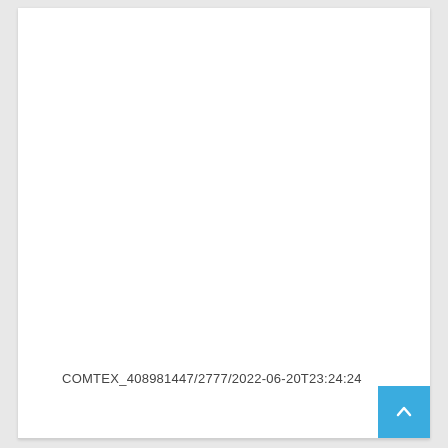COMTEX_408981447/2777/2022-06-20T23:24:24